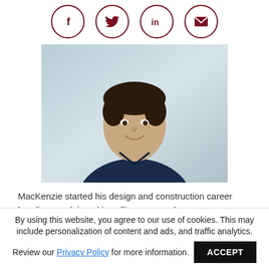[Figure (illustration): Social media share icons: Facebook (f), Twitter (bird), LinkedIn (in), Email (envelope), displayed as dark red circles in a row]
[Figure (photo): Headshot of a man (MacKenzie) in a dark navy blue polo shirt, smiling, against a light blue-gray background]
MacKenzie started his design and construction career bending conduit and installing receptacles as an electrician's apprentice for a small electrical contracting firm. He then became the
By using this website, you agree to our use of cookies. This may include personalization of content and ads, and traffic analytics.
Review our Privacy Policy for more information. ACCEPT